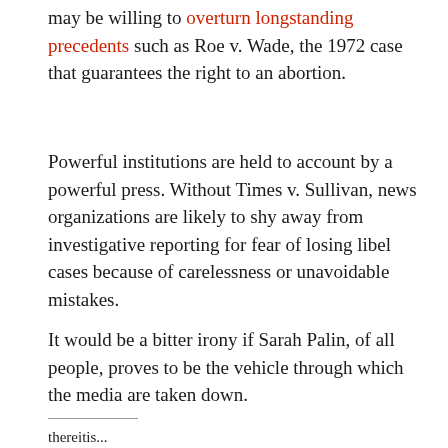may be willing to overturn longstanding precedents such as Roe v. Wade, the 1972 case that guarantees the right to an abortion.
Powerful institutions are held to account by a powerful press. Without Times v. Sullivan, news organizations are likely to shy away from investigative reporting for fear of losing libel cases because of carelessness or unavoidable mistakes.
It would be a bitter irony if Sarah Palin, of all people, proves to be the vehicle through which the media are taken down.
thereitis...